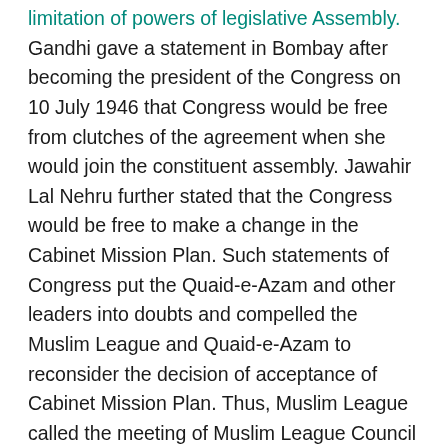limitation of powers of legislative Assembly. Gandhi gave a statement in Bombay after becoming the president of the Congress on 10 July 1946 that Congress would be free from clutches of the agreement when she would join the constituent assembly. Jawahir Lal Nehru further stated that the Congress would be free to make a change in the Cabinet Mission Plan. Such statements of Congress put the Quaid-e-Azam and other leaders into doubts and compelled the Muslim League and Quaid-e-Azam to reconsider the decision of acceptance of Cabinet Mission Plan. Thus, Muslim League called the meeting of Muslim League Council on 29 July 1946 wherein a resolution was placed to withdraw the approval of Cabinet Mission Plan. Furthermore, on the appeal of Quaid-e-Azam, "Youm-e-Rast Iqdam" was observed on 16 August 1946 against the wrong policies of the British Government and in favour of the claim for Pakistan. Thus, in this way, the Cabinet Mission Plan failed to achieve any successful results.